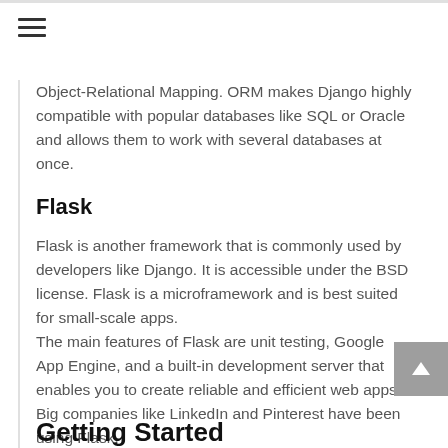☰
Object-Relational Mapping. ORM makes Django highly compatible with popular databases like SQL or Oracle and allows them to work with several databases at once.
Flask
Flask is another framework that is commonly used by developers like Django. It is accessible under the BSD license. Flask is a microframework and is best suited for small-scale apps.
The main features of Flask are unit testing, Google App Engine, and a built-in development server that enables you to create reliable and efficient web apps.
Big companies like LinkedIn and Pinterest have been using Flask.
Getting Started